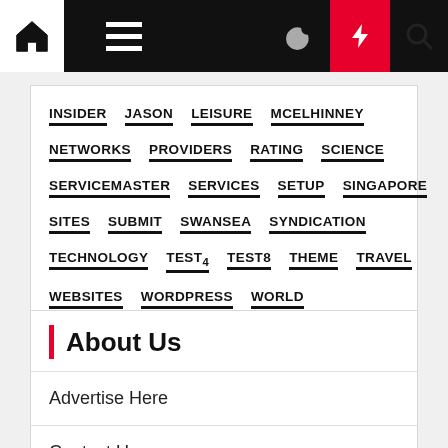Navigation bar with home, menu, moon, bolt, and search icons
INSIDER
JASON
LEISURE
MCELHINNEY
NETWORKS
PROVIDERS
RATING
SCIENCE
SERVICEMASTER
SERVICES
SETUP
SINGAPORE
SITES
SUBMIT
SWANSEA
SYNDICATION
TECHNOLOGY
TEST4
TEST8
THEME
TRAVEL
WEBSITES
WORDPRESS
WORLD
About Us
Advertise Here
Contact Us
Privacy Policy